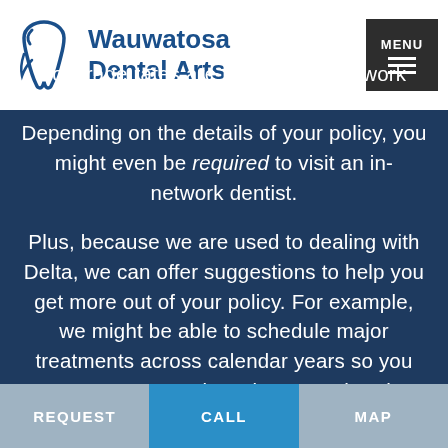Wauwatosa Dental Arts | MENU
coverage rates are higher at in-network dentists than out of network ones. Depending on the details of your policy, you might even be required to visit an in-network dentist.

Plus, because we are used to dealing with Delta, we can offer suggestions to help you get more out of your policy. For example, we might be able to schedule major treatments across calendar years so you can use two annual maximums rather than just one.
REQUEST   CALL   MAP